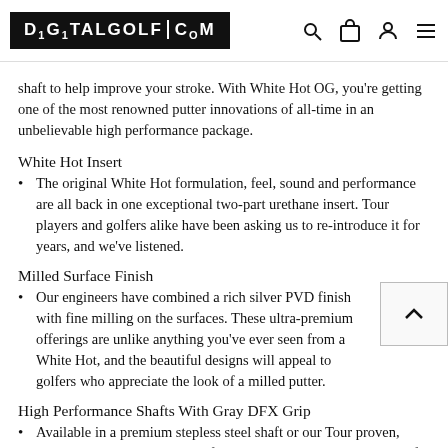DIGITALGOLF.COM
shaft to help improve your stroke. With White Hot OG, you're getting one of the most renowned putter innovations of all-time in an unbelievable high performance package.
White Hot Insert
The original White Hot formulation, feel, sound and performance are all back in one exceptional two-part urethane insert. Tour players and golfers alike have been asking us to re-introduce it for years, and we've listened.
Milled Surface Finish
Our engineers have combined a rich silver PVD finish with fine milling on the surfaces. These ultra-premium offerings are unlike anything you've ever seen from a White Hot, and the beautiful designs will appeal to golfers who appreciate the look of a milled putter.
High Performance Shafts With Gray DFX Grip
Available in a premium stepless steel shaft or our Tour proven, multi-material Stroke Lab shaft in a new candy apple red. Both of